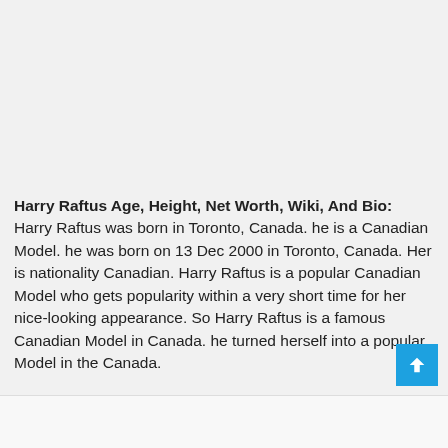Harry Raftus Age, Height, Net Worth, Wiki, And Bio: Harry Raftus was born in Toronto, Canada. he is a Canadian Model. he was born on 13 Dec 2000 in Toronto, Canada. Her is nationality Canadian. Harry Raftus is a popular Canadian Model who gets popularity within a very short time for her nice-looking appearance. So Harry Raftus is a famous Canadian Model in Canada. he turned herself into a popular Model in the Canada.